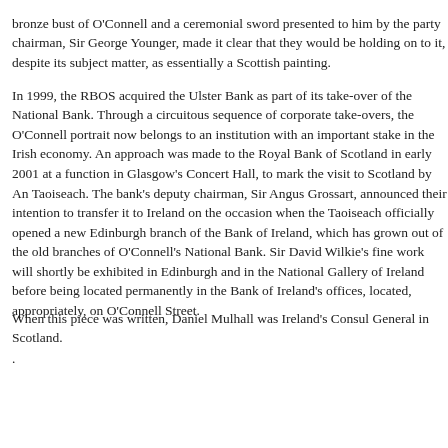bronze bust of O'Connell and a ceremonial sword presented to him by the party chairman, Sir George Younger, made it clear that they would be holding on to it, despite its subject matter, as essentially a Scottish painting. In 1999, the RBOS acquired the Ulster Bank as part of its take-over of the National Bank. Through a circuitous sequence of corporate take-overs, the O'Connell portrait now belongs to an institution with an important stake in the Irish economy. An approach was made to the Royal Bank of Scotland in early 2001 at a function in Glasgow's Concert Hall, to mark the visit to Scotland by An Taoiseach. The bank's deputy chairman, Sir Angus Grossart, announced their intention to transfer it to Ireland on the occasion when the Taoiseach officially opened a new Edinburgh branch of the Bank of Ireland, which has grown out of the old branches of O'Connell's National Bank. Sir David Wilkie's fine work will shortly be exhibited in Edinburgh and in the National Gallery of Ireland before being located permanently in the Bank of Ireland's offices, located, appropriately, on O'Connell Street.
When this piece was written, Daniel Mulhall was Ireland's Consul General in Scotland.
.